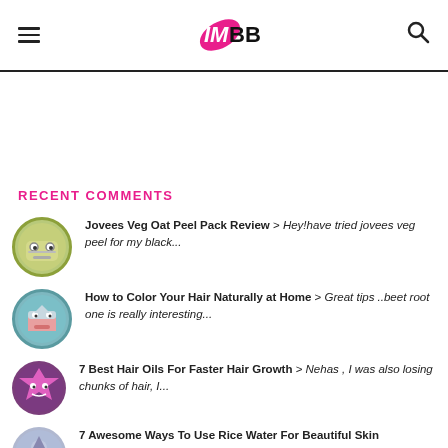IMBB logo with hamburger menu and search icon
RECENT COMMENTS
Jovees Veg Oat Peel Pack Review > Hey!have tried jovees veg peel for my black...
How to Color Your Hair Naturally at Home > Great tips ..beet root one is really interesting...
7 Best Hair Oils For Faster Hair Growth > Nehas , I was also losing chunks of hair, I...
7 Awesome Ways To Use Rice Water For Beautiful Skin